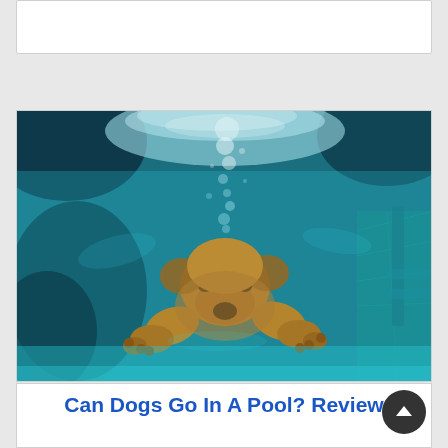[Figure (photo): Underwater photo of a golden retriever dog diving into a swimming pool, viewed from below. The dog is swimming toward the camera with paws extended, bubbles visible above, turquoise/teal pool water surrounds the dog, and pool tiles visible on the right side.]
Can Dogs Go In A Pool? Review